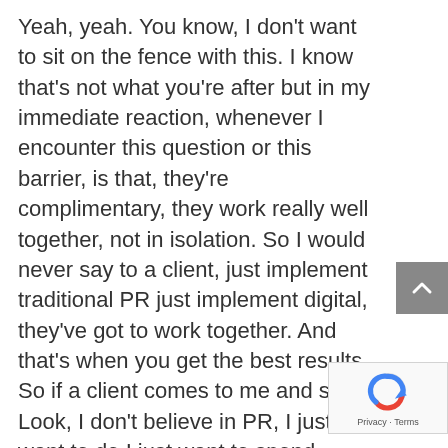Yeah, yeah. You know, I don't want to sit on the fence with this. I know that's not what you're after but in my immediate reaction, whenever I encounter this question or this barrier, is that, they're complimentary, they work really well together, not in isolation. So I would never say to a client, just implement traditional PR just implement digital, they've got to work together. And that's when you get the best results. So if a client comes to me and says, Look, I don't believe in PR, I just want to do I just want to spend 40,000 pounds on doing SEO, or Google AdWords or whatever, I'll say, okay. But if you add PR, traditional PR into the mix, you're going to boost your
[Figure (other): Gray scroll-to-top button with upward chevron arrow]
[Figure (other): reCAPTCHA widget showing Google reCAPTCHA logo with Privacy and Terms links]